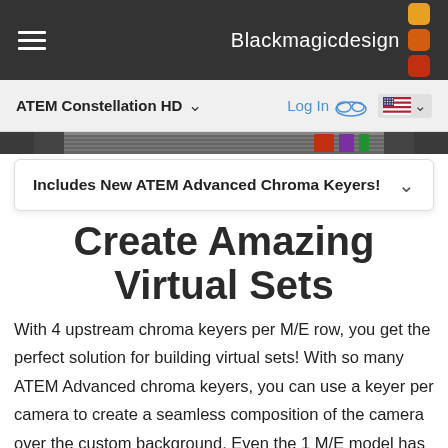Blackmagicdesign
ATEM Constellation HD
Log In
[Figure (screenshot): Screenshot strip of ATEM software interface]
Includes New ATEM Advanced Chroma Keyers!
Create Amazing Virtual Sets
With 4 upstream chroma keyers per M/E row, you get the perfect solution for building virtual sets! With so many ATEM Advanced chroma keyers, you can use a keyer per camera to create a seamless composition of the camera over the custom background. Even the 1 M/E model has enough keyers to